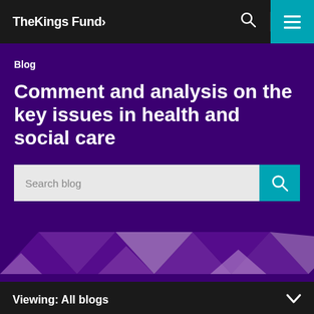The King's Fund
Blog
Comment and analysis on the key issues in health and social care
Search blog
Viewing: All blogs
We use cookies to provide social media features and to analyse our traffic. We also share information about your use